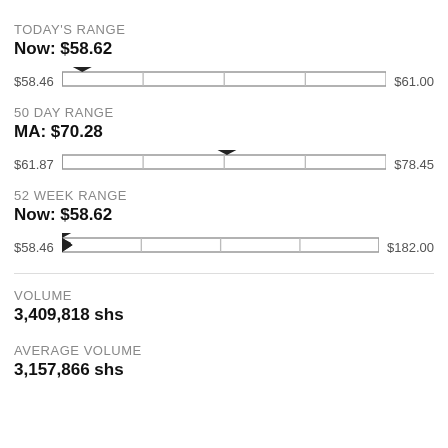TODAY'S RANGE
Now: $58.62
[Figure (infographic): Horizontal range bar from $58.46 to $61.00 with marker near left end indicating current price $58.62]
50 DAY RANGE
MA: $70.28
[Figure (infographic): Horizontal range bar from $61.87 to $78.45 with marker near center indicating MA $70.28]
52 WEEK RANGE
Now: $58.62
[Figure (infographic): Horizontal range bar from $58.46 to $182.00 with marker at far left indicating current price $58.62]
VOLUME
3,409,818 shs
AVERAGE VOLUME
3,157,866 shs